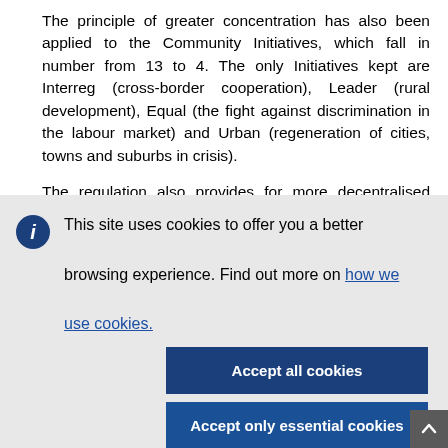The principle of greater concentration has also been applied to the Community Initiatives, which fall in number from 13 to 4. The only Initiatives kept are Interreg (cross-border cooperation), Leader (rural development), Equal (the fight against discrimination in the labour market) and Urban (regeneration of cities, towns and suburbs in crisis).
The regulation also provides for more decentralised management of the Structural Funds by the Member States and the Commission, and greater partnership with...
This site uses cookies to offer you a better browsing experience. Find out more on how we use cookies.
Accept all cookies
Accept only essential cookies